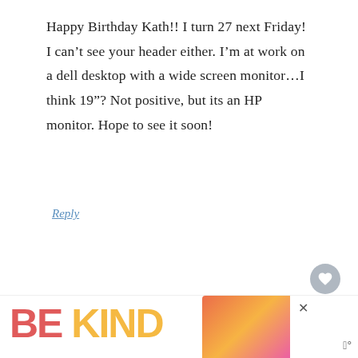Happy Birthday Kath!! I turn 27 next Friday! I can't see your header either. I'm at work on a dell desktop with a wide screen monitor…I think 19"? Not positive, but its an HP monitor. Hope to see it soon!
Reply
Gliding Calm says
October 26, 2009 at 7:48 am
Happy Birthday Kath!!!!!!!
[Figure (infographic): BE KIND advertisement banner with decorative script overlay and close button]
WHAT'S NEXT → Sunflowers + Viognier